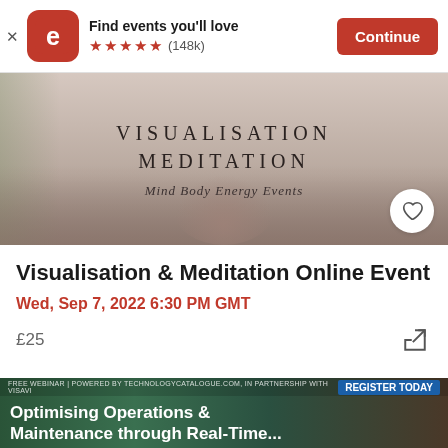Find events you'll love ★★★★★ (148k) Continue
[Figure (photo): Meditation event banner image showing a person meditating with text VISUALISATION MEDITATION and script text 'Mind Body Energy Events']
Visualisation & Meditation Online Event
Wed, Sep 7, 2022 6:30 PM GMT
£25
[Figure (photo): Advertisement banner: FREE WEBINAR | POWERED BY TECHNOLOGYCATALOGUE.COM, IN PARTNERSHIP WITH VISAVI — REGISTER TODAY — Optimising Operations & Maintenance through Real-Time...]